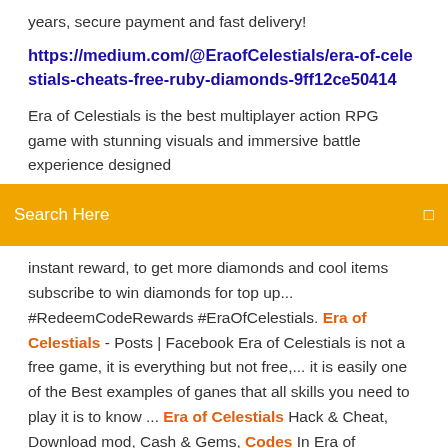years, secure payment and fast delivery!
https://medium.com/@EraofCelestials/era-of-celestials-cheats-free-ruby-diamonds-9ff12ce50414
Era of Celestials is the best multiplayer action RPG game with stunning visuals and immersive battle experience designed
Search Here
instant reward, to get more diamonds and cool items subscribe to win diamonds for top up... #RedeemCodeRewards #EraOfCelestials. Era of Celestials - Posts | Facebook Era of Celestials is not a free game, it is everything but not free,... it is easily one of the Best examples of ganes that all skills you need to play it is to know ... Era of Celestials Hack & Cheat, Download mod, Cash & Gems, Codes In Era of Celestials, sprites are your most loyal protectors. In the heat of battle, they will always be right by your side! Different sprites provide